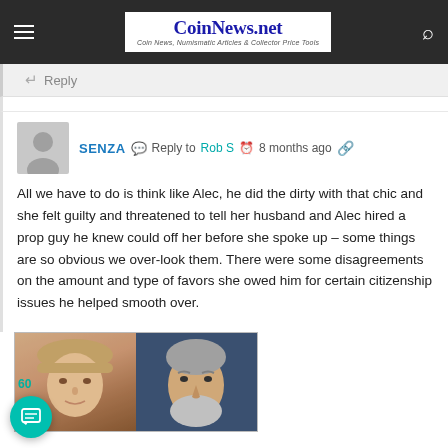CoinNews.net – Coin News, Numismatic Articles & Collector Price Tools
Reply
SENZA  Reply to  Rob S   8 months ago
All we have to do is think like Alec, he did the dirty with that chic and she felt guilty and threatened to tell her husband and Alec hired a prop guy he knew could off her before she spoke up – some things are so obvious we over-look them. There were some disagreements on the amount and type of favors she owed him for certain citizenship issues he helped smooth over.
[Figure (photo): Two photos side by side: a woman with a beige knit hat and a man with grey hair and beard]